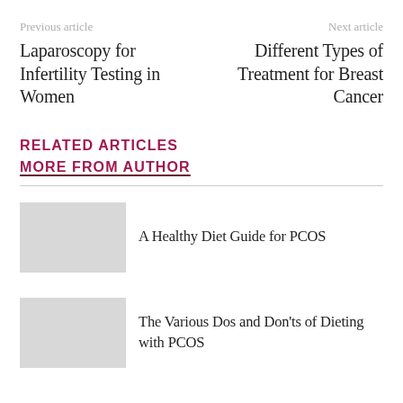Previous article
Next article
Laparoscopy for Infertility Testing in Women
Different Types of Treatment for Breast Cancer
RELATED ARTICLES
MORE FROM AUTHOR
A Healthy Diet Guide for PCOS
The Various Dos and Don'ts of Dieting with PCOS